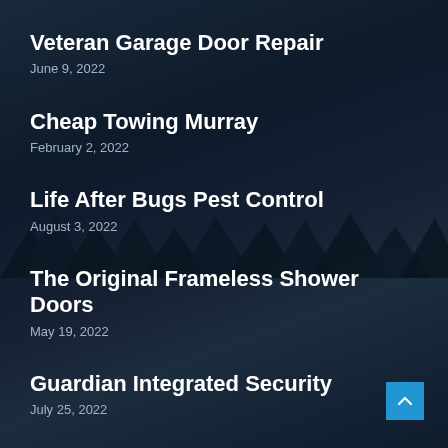Veteran Garage Door Repair
June 9, 2022
Cheap Towing Murray
February 2, 2022
Life After Bugs Pest Control
August 3, 2022
The Original Frameless Shower Doors
May 19, 2022
Guardian Integrated Security
July 25, 2022